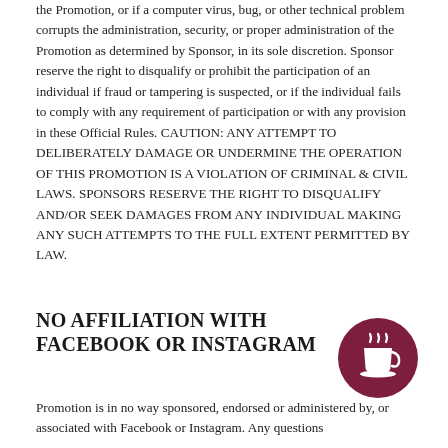the Promotion, or if a computer virus, bug, or other technical problem corrupts the administration, security, or proper administration of the Promotion as determined by Sponsor, in its sole discretion. Sponsor reserve the right to disqualify or prohibit the participation of an individual if fraud or tampering is suspected, or if the individual fails to comply with any requirement of participation or with any provision in these Official Rules. CAUTION: ANY ATTEMPT TO DELIBERATELY DAMAGE OR UNDERMINE THE OPERATION OF THIS PROMOTION IS A VIOLATION OF CRIMINAL & CIVIL LAWS. SPONSORS RESERVE THE RIGHT TO DISQUALIFY AND/OR SEEK DAMAGES FROM ANY INDIVIDUAL MAKING ANY SUCH ATTEMPTS TO THE FULL EXTENT PERMITTED BY LAW.
NO AFFILIATION WITH FACEBOOK OR INSTAGRAM
[Figure (illustration): Dark red circle with a white coffee cup and steam icon]
Promotion is in no way sponsored, endorsed or administered by, or associated with Facebook or Instagram. Any questions